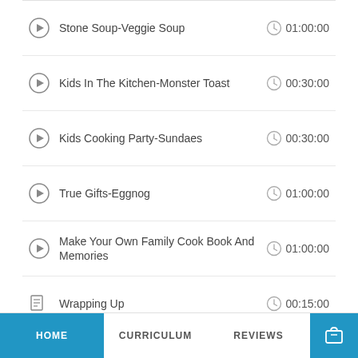Stone Soup-Veggie Soup  01:00:00
Kids In The Kitchen-Monster Toast  00:30:00
Kids Cooking Party-Sundaes  00:30:00
True Gifts-Eggnog  01:00:00
Make Your Own Family Cook Book And Memories  01:00:00
Wrapping Up  00:15:00
Assessment
HOME  CURRICULUM  REVIEWS